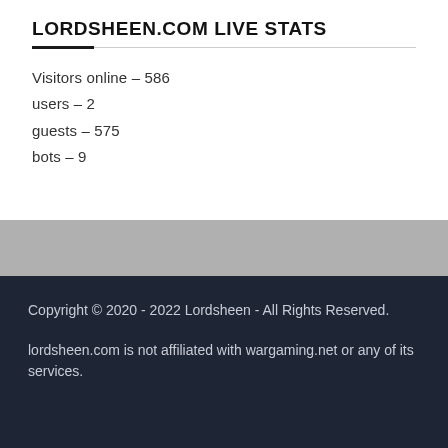LORDSHEEN.COM LIVE STATS
Visitors online – 586
users – 2
guests – 575
bots – 9
Copyright © 2020 - 2022 Lordsheen - All Rights Reserved.

lordsheen.com is not affiliated with wargaming.net or any of its services.